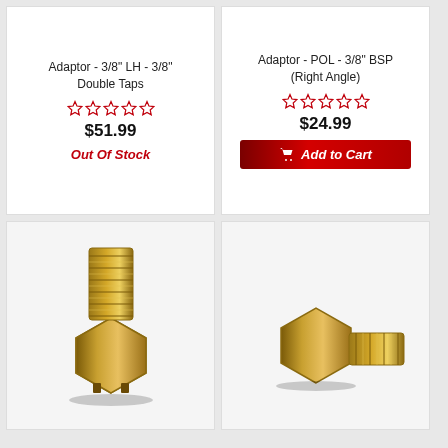Adaptor - 3/8" LH - 3/8" Double Taps
☆☆☆☆☆
$51.99
Out Of Stock
Adaptor - POL - 3/8" BSP (Right Angle)
☆☆☆☆☆
$24.99
Add to Cart
[Figure (photo): Brass double-taps adaptor fitting with hexagonal body and threaded ends]
[Figure (photo): Brass BSP right angle adaptor fitting with hexagonal body and threaded ends]